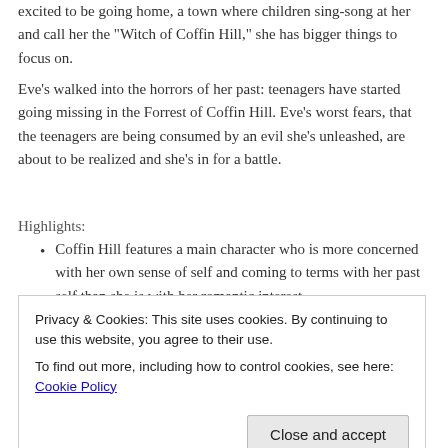excited to be going home, a town where children sing-song at her and call her the "Witch of Coffin Hill," she has bigger things to focus on.
Eve's walked into the horrors of her past: teenagers have started going missing in the Forrest of Coffin Hill. Eve's worst fears, that the teenagers are being consumed by an evil she's unleashed, are about to be realized and she's in for a battle.
Highlights:
Coffin Hill features a main character who is more concerned with her own sense of self and coming to terms with her past self than she is with her romantic interest.
Eve is headstrong and rushes into things, at times without
Privacy & Cookies: This site uses cookies. By continuing to use this website, you agree to their use.
To find out more, including how to control cookies, see here: Cookie Policy
may seem confusing, but the result is a multidimensional